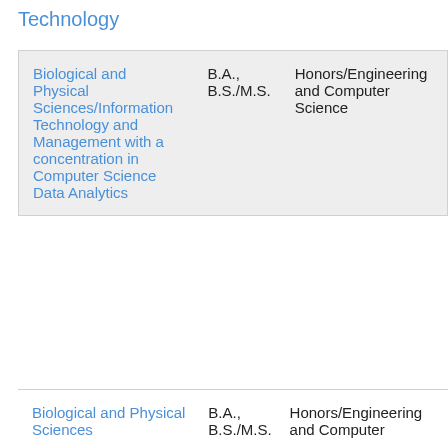Technology
| Program | Degree | Track |
| --- | --- | --- |
| Biological and Physical Sciences/Information Technology and Management with a concentration in Computer Science Data Analytics | B.A., B.S./M.S. | Honors/Engineering and Computer Science |
| Biological and Physical Sciences | B.A., B.S./M.S. | Honors/Engineering and Computer |